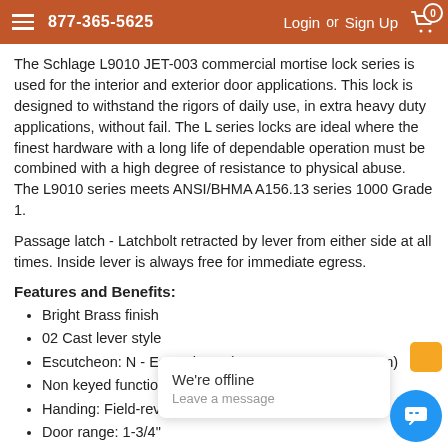877-365-5625  Login or Sign Up
The Schlage L9010 JET-003 commercial mortise lock series is used for the interior and exterior door applications. This lock is designed to withstand the rigors of daily use, in extra heavy duty applications, without fail. The L series locks are ideal where the finest hardware with a long life of dependable operation must be combined with a high degree of resistance to physical abuse. The L9010 series meets ANSI/BHMA A156.13 series 1000 Grade 1.
Passage latch - Latchbolt retracted by lever from either side at all times. Inside lever is always free for immediate egress.
Features and Benefits:
Bright Brass finish
02 Cast lever style
Escutcheon: N - Escutcheon (200mm x 64mm x 11mm)
Non keyed function
Handing: Field-rev
Door range: 1-3/4"
Backset: 2-3/4"